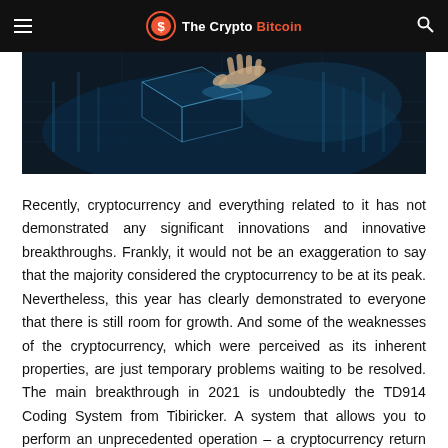The Crypto Bitcoin
[Figure (photo): A hand reaching toward a glowing digital/holographic interface in a dark blue setting, representing cryptocurrency technology.]
Recently, cryptocurrency and everything related to it has not demonstrated any significant innovations and innovative breakthroughs. Frankly, it would not be an exaggeration to say that the majority considered the cryptocurrency to be at its peak. Nevertheless, this year has clearly demonstrated to everyone that there is still room for growth. And some of the weaknesses of the cryptocurrency, which were perceived as its inherent properties, are just temporary problems waiting to be resolved. The main breakthrough in 2021 is undoubtedly the TD914 Coding System from Tibiricker. A system that allows you to perform an unprecedented operation – a cryptocurrency return of a transaction.